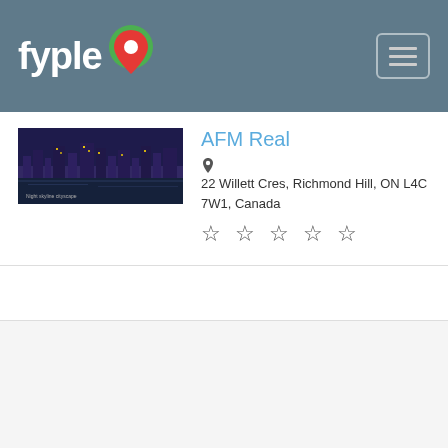fyple
[Figure (screenshot): Fyple business directory listing page showing AFM Real with address and star rating]
AFM Real
22 Willett Cres, Richmond Hill, ON L4C 7W1, Canada
☆ ☆ ☆ ☆ ☆